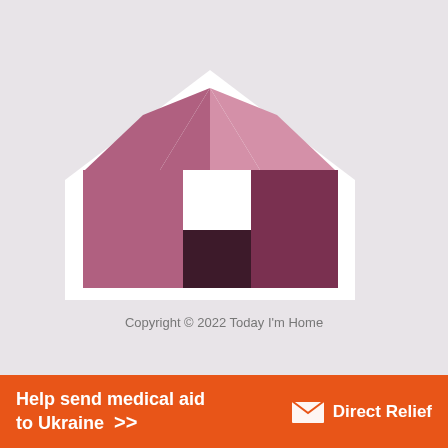[Figure (logo): Today I'm Home logo — a house outline containing pink, mauve, dark plum, white, and maroon square/rectangular blocks forming a geometric patchwork house shape]
Copyright © 2022 Today I'm Home
[Figure (infographic): Orange Direct Relief advertisement banner: 'Help send medical aid to Ukraine >>' with Direct Relief logo (white box icon and white text)]